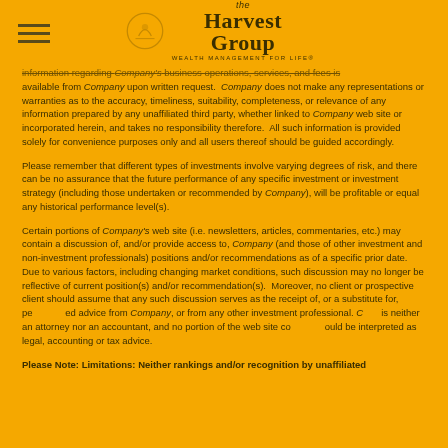The Harvest Group - Wealth Management For Life
information regarding Company's business operations, services, and fees is available from Company upon written request. Company does not make any representations or warranties as to the accuracy, timeliness, suitability, completeness, or relevance of any information prepared by any unaffiliated third party, whether linked to Company web site or incorporated herein, and takes no responsibility therefore. All such information is provided solely for convenience purposes only and all users thereof should be guided accordingly.
Please remember that different types of investments involve varying degrees of risk, and there can be no assurance that the future performance of any specific investment or investment strategy (including those undertaken or recommended by Company), will be profitable or equal any historical performance level(s).
Certain portions of Company's web site (i.e. newsletters, articles, commentaries, etc.) may contain a discussion of, and/or provide access to, Company (and those of other investment and non-investment professionals) positions and/or recommendations as of a specific prior date. Due to various factors, including changing market conditions, such discussion may no longer be reflective of current position(s) and/or recommendation(s). Moreover, no client or prospective client should assume that any such discussion serves as the receipt of, or a substitute for, personalized advice from Company, or from any other investment professional. Company is neither an attorney nor an accountant, and no portion of the web site content should be interpreted as legal, accounting or tax advice.
Please Note: Limitations: Neither rankings and/or recognition by unaffiliated...